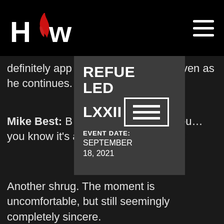HCW logo and navigation header
definitely app... e, even as he continues.
[Figure (other): Popup overlay card showing event info: REFUELED LXXII, EVENT DATE: SEPTEMBER 18, 2021, with a logo box containing horizontal lines]
Mike Best: B... You… you know it's a fo...
Another shrug. The moment is uncomfortable, but still seemingly completely sincere.
Mike Best: Like... I'm not trying to be a